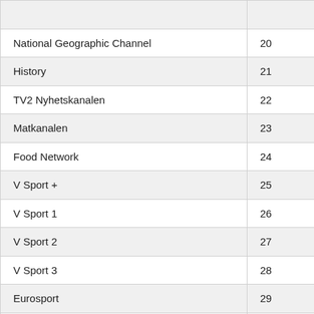| Channel | Number |
| --- | --- |
| National Geographic Channel | 20 |
| History | 21 |
| TV2 Nyhetskanalen | 22 |
| Matkanalen | 23 |
| Food Network | 24 |
| V Sport + | 25 |
| V Sport 1 | 26 |
| V Sport 2 | 27 |
| V Sport 3 | 28 |
| Eurosport | 29 |
| Eurosport Norge | 30 |
| Disney | 31 |